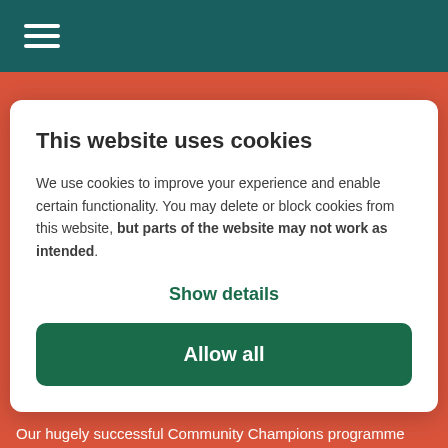[Figure (screenshot): Navigation bar with teal background and hamburger menu icon (three white horizontal lines)]
[Figure (screenshot): Cookie consent modal overlay on orange-red hero background. Contains title, body text, Show details link, and Allow all button. Background shows Community Champions logo and tagline.]
This website uses cookies
We use cookies to improve your experience and enable certain functionality. You may delete or block cookies from this website, but parts of the website may not work as intended.
Show details
Allow all
COMMUNITY CHAMPIONS
Our hugely successful Community Champions programme